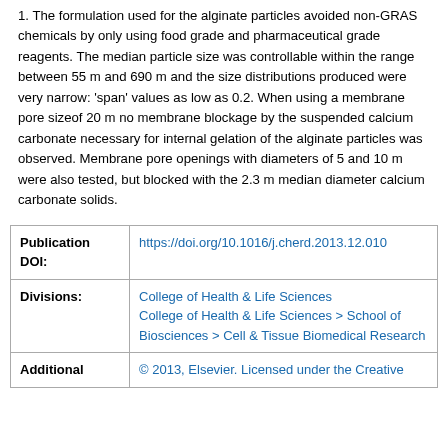1. The formulation used for the alginate particles avoided non-GRAS chemicals by only using food grade and pharmaceutical grade reagents. The median particle size was controllable within the range between 55 m and 690 m and the size distributions produced were very narrow: 'span' values as low as 0.2. When using a membrane pore sizeof 20 m no membrane blockage by the suspended calcium carbonate necessary for internal gelation of the alginate particles was observed. Membrane pore openings with diameters of 5 and 10 m were also tested, but blocked with the 2.3 m median diameter calcium carbonate solids.
|  |  |
| --- | --- |
| Publication DOI: | https://doi.org/10.1016/j.cherd.2013.12.010 |
| Divisions: | College of Health & Life Sciences
College of Health & Life Sciences > School of Biosciences > Cell & Tissue Biomedical Research |
| Additional | © 2013, Elsevier. Licensed under the Creative |